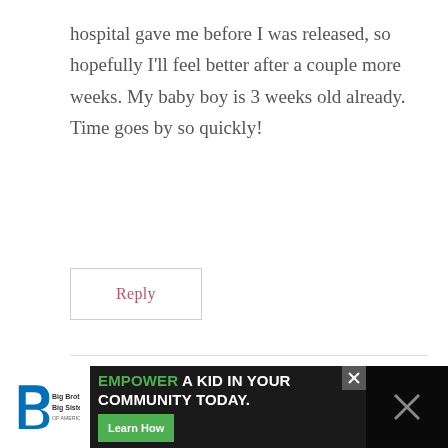hospital gave me before I was released, so hopefully I'll feel better after a couple more weeks. My baby boy is 3 weeks old already. Time goes by so quickly!
Reply
Julia says:
February 7, 2016 at 7:01 pm
[Figure (infographic): Big Brothers Big Sisters advertisement banner: logo on left, text 'EMPOWER A KID IN YOUR COMMUNITY TODAY.' with green Learn How button, and close X button.]